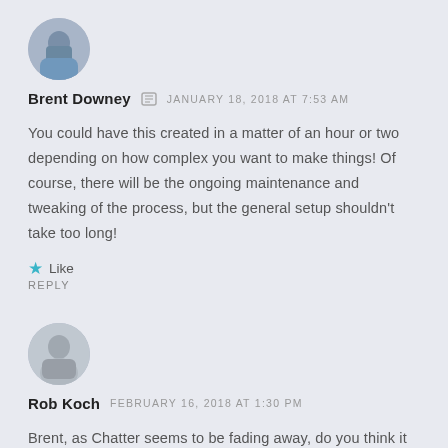[Figure (photo): Circular avatar photo of Brent Downey, a man in a blue shirt]
Brent Downey  JANUARY 18, 2018 AT 7:53 AM
You could have this created in a matter of an hour or two depending on how complex you want to make things! Of course, there will be the ongoing maintenance and tweaking of the process, but the general setup shouldn't take too long!
★ Like
REPLY
[Figure (photo): Circular avatar photo of Rob Koch, an older man with gray hair]
Rob Koch  FEBRUARY 16, 2018 AT 1:30 PM
Brent, as Chatter seems to be fading away, do you think it